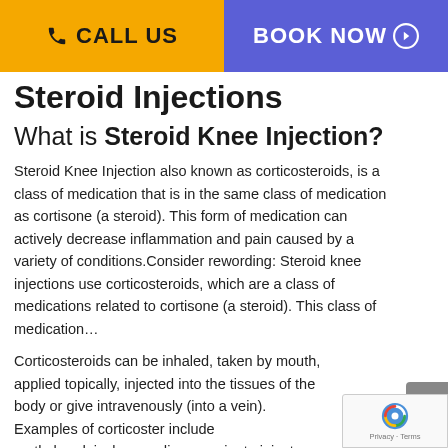CALL US | BOOK NOW
Steroid Injections
What is Steroid Knee Injection?
Steroid Knee Injection also known as corticosteroids, is a class of medication that is in the same class of medication as cortisone (a steroid). This form of medication can actively decrease inflammation and pain caused by a variety of conditions.Consider rewording: Steroid knee injections use corticosteroids, which are a class of medications related to cortisone (a steroid). This class of medication…
Corticosteroids can be inhaled, taken by mouth, applied topically, injected into the tissues of the body or given intravenously (into a vein). Examples of corticosteroids include methylprednisolone sodium succinate injection…